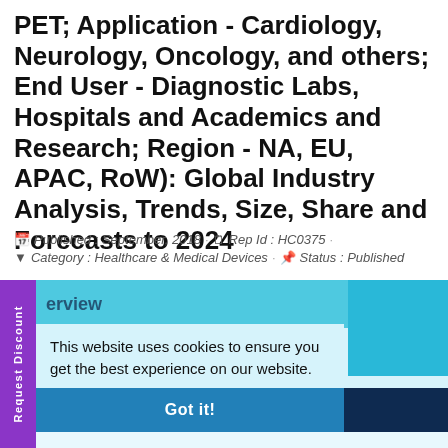PET; Application - Cardiology, Neurology, Oncology, and others; End User - Diagnostic Labs, Hospitals and Academics and Research; Region - NA, EU, APAC, RoW): Global Industry Analysis, Trends, Size, Share and Forecasts to 2024
Published : September, 2018  ·  Rep Id : HC0375  ·  Category : Healthcare & Medical Devices  ·  Status : Published
[Figure (screenshot): A cookie consent popup overlay on a market research report page. The overlay contains a light-blue cookie notice reading 'This website uses cookies to ensure you get the best experience on our website.' with a 'Read More' link and 'Got it!' button. Behind the popup are navigation tabs including 'Overview', 'Request Sample', and 'Request Detailed TOC'. A purple vertical 'Request Discount' sidebar tab is visible on the left.]
Customization Request